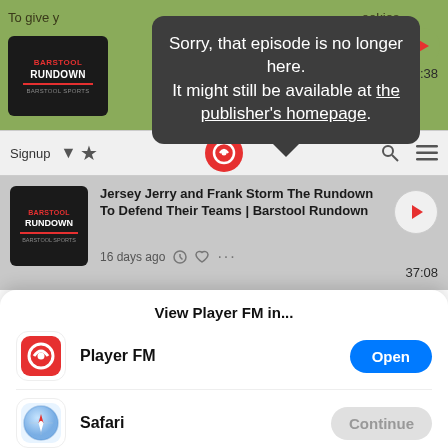[Figure (screenshot): Mobile app screenshot background showing Player FM podcast app with Barstool Rundown podcast listing and navigation bar]
Sorry, that episode is no longer here. It might still be available at the publisher's homepage.
Jersey Jerry and Frank Storm The Rundown To Defend Their Teams | Barstool Rundown
16 days ago  37:08
View Player FM in...
Player FM
Open
Safari
Continue